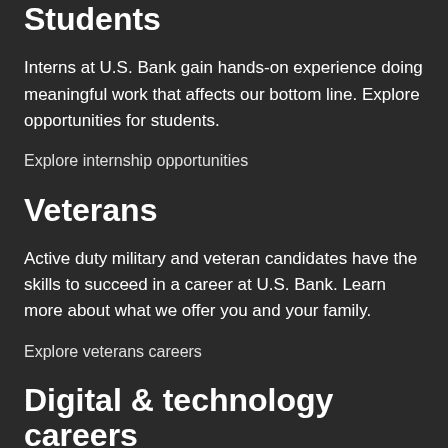Students
Interns at U.S. Bank gain hands-on experience doing meaningful work that affects our bottom line. Explore opportunities for students.
Explore internship opportunities
Veterans
Active duty military and veteran candidates have the skills to succeed in a career at U.S. Bank. Learn more about what we offer you and your family.
Explore veterans careers
Digital & technology careers
Join us and help create the digital experiences that millions of people have as one of the most trusted and admired financial